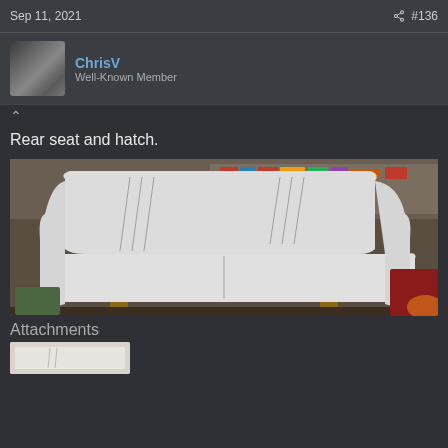Sep 11, 2021   #136
ChrisV
Well-Known Member
Rear seat and hatch.
[Figure (photo): A white upholstered boat rear seat displayed in a workshop/garage setting. The seat has light grey vinyl with decorative stitching lines on the backrest and seat cushion. It sits on wooden supports surrounded by tools, shelves, and storage in the background.]
Attachments
[Figure (photo): Thumbnail of upholstered seat attachment]